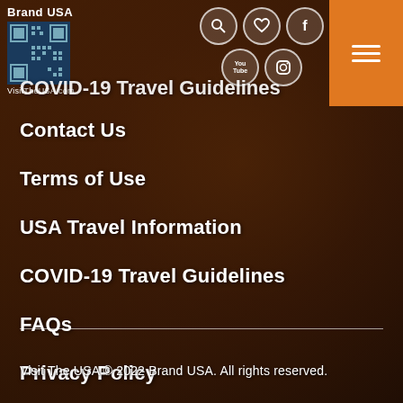[Figure (screenshot): Brand USA / VisitTheUSA.com logo with QR code pattern in top left]
[Figure (screenshot): Social media icons: search, heart/favorites, Facebook, YouTube, Instagram in top right header area]
[Figure (screenshot): Orange hamburger menu button in top right corner]
COVID-19 Travel Guidelines
Contact Us
Terms of Use
USA Travel Information
COVID-19 Travel Guidelines
FAQs
Privacy Policy
Travel Trade
Visit The USA © 2022 Brand USA. All rights reserved.